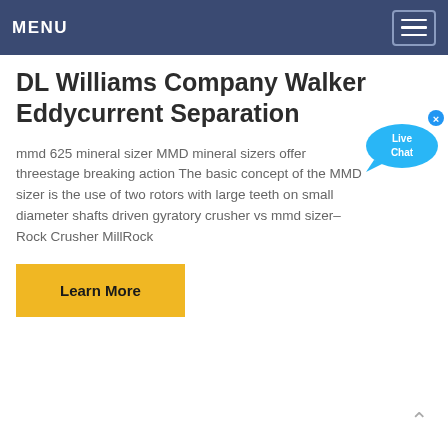MENU
DL Williams Company Walker Eddycurrent Separation
mmd 625 mineral sizer MMD mineral sizers offer threestage breaking action The basic concept of the MMD sizer is the use of two rotors with large teeth on small diameter shafts driven gyratory crusher vs mmd sizer–Rock Crusher MillRock
[Figure (illustration): Live Chat bubble widget with blue speech bubble and 'Live Chat' text, with a small X close button]
Learn More